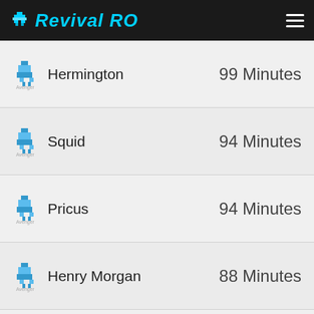RevivalRO
Hermington — 99 Minutes
Squid — 94 Minutes
Pricus — 94 Minutes
Henry Morgan — 88 Minutes
Beefie — 85 Minutes
Kalderetang Baka — 84 Minutes
vivy — 83 Minutes
Lekiu — 82 Minutes